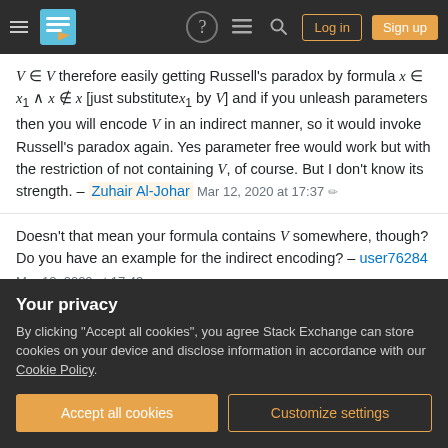Stack Exchange navigation bar with Log in and Sign up buttons
V ∈ V therefore easily getting Russell's paradox by formula x ∈ x₁ ∧ x ∉ x [just substitute x₁ by V] and if you unleash parameters then you will encode V in an indirect manner, so it would invoke Russell's paradox again. Yes parameter free would work but with the restriction of not containing V, of course. But I don't know its strength. – Zuhair Al-Johar  Mar 12, 2020 at 17:37 ✏
Doesn't that mean your formula contains V somewhere, though? Do you have an example for the indirect encoding? – user76284  Mar 12, 2020 at 17:43
Wait, why did you edit the construction schema?
Your privacy
By clicking "Accept all cookies", you agree Stack Exchange can store cookies on your device and disclose information in accordance with our Cookie Policy.
Accept all cookies
Customize settings